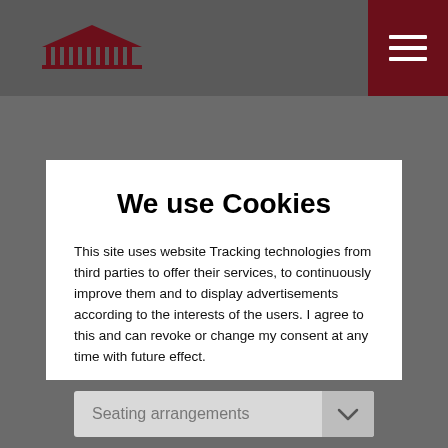[Logo: building/institution icon] [Hamburger menu button]
We use Cookies
This site uses website Tracking technologies from third parties to offer their services, to continuously improve them and to display advertisements according to the interests of the users. I agree to this and can revoke or change my consent at any time with future effect.
Deny | Accept
Privacy protection settings
Privacy protection
Seating arrangements